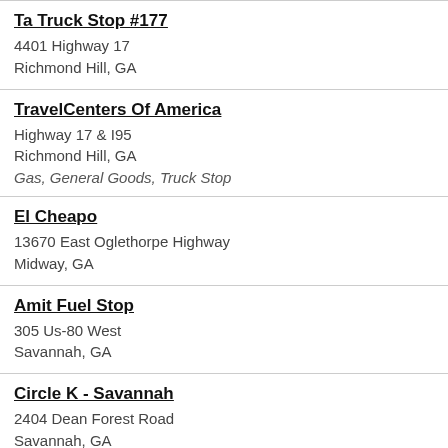Ta Truck Stop #177
4401 Highway 17
Richmond Hill, GA
TravelCenters Of America
Highway 17 & I95
Richmond Hill, GA
Gas, General Goods, Truck Stop
El Cheapo
13670 East Oglethorpe Highway
Midway, GA
Amit Fuel Stop
305 Us-80 West
Savannah, GA
Circle K - Savannah
2404 Dean Forest Road
Savannah, GA